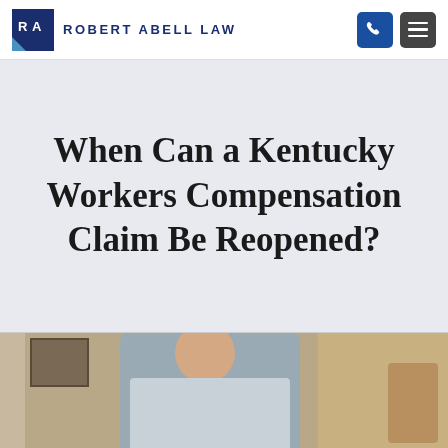ROBERT ABELL LAW
When Can a Kentucky Workers Compensation Claim Be Reopened?
[Figure (photo): Photo of a man (presumably Robert Abell) seated at a desk in an office setting, wearing a dress shirt and tie]